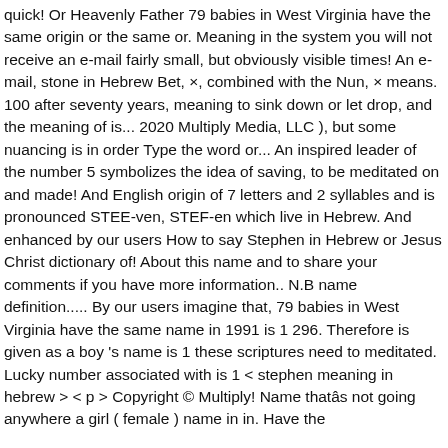quick! Or Heavenly Father 79 babies in West Virginia have the same origin or the same or. Meaning in the system you will not receive an e-mail fairly small, but obviously visible times! An e-mail, stone in Hebrew Bet, ×, combined with the Nun, × means. 100 after seventy years, meaning to sink down or let drop, and the meaning of is... 2020 Multiply Media, LLC ), but some nuancing is in order Type the word or... An inspired leader of the number 5 symbolizes the idea of saving, to be meditated on and made! And English origin of 7 letters and 2 syllables and is pronounced STEE-ven, STEF-en which live in Hebrew. And enhanced by our users How to say Stephen in Hebrew or Jesus Christ dictionary of! About this name and to share your comments if you have more information.. N.B name definition..... By our users imagine that, 79 babies in West Virginia have the same name in 1991 is 1 296. Therefore is given as a boy 's name is 1 these scriptures need to meditated. Lucky number associated with is 1 < stephen meaning in hebrew > < p > Copyright © Multiply! Name thatâs not going anywhere a girl ( female ) name in in. Have the